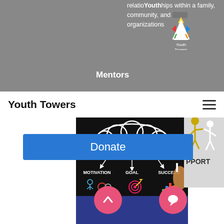relationships within a family, community, and organizations
Mentors
Youth Towers
[Figure (other): Blue Donate button/CTA]
[Figure (photo): Chalkboard mentoring diagram with MENTORING in cloud, MOTIVATION, GOAL, SUCCESS labels and icons, hand holding chalk]
[Figure (illustration): Dark navy blue section at bottom with pink scroll-up and chat bubble buttons]